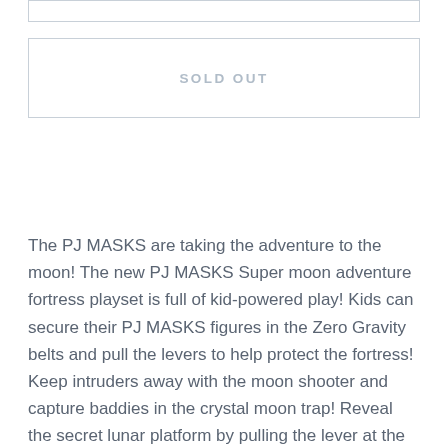[Figure (other): Empty top input/search box with light gray border]
SOLD OUT
The PJ MASKS are taking the adventure to the moon! The new PJ MASKS Super moon adventure fortress playset is full of kid-powered play! Kids can secure their PJ MASKS figures in the Zero Gravity belts and pull the levers to help protect the fortress! Keep intruders away with the moon shooter and capture baddies in the crystal moon trap! Reveal the secret lunar platform by pulling the lever at the top of the playset! The playset comes with a 3” Catboy figure and a 3” Luna girl figure. Both figures are articulated so